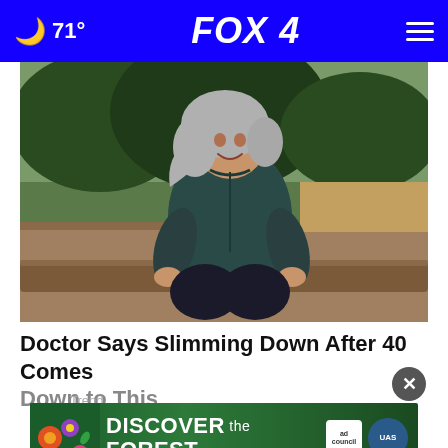🌙 71° | FOX 4
[Figure (photo): Middle-aged woman with gray hair wearing dark athletic wear, sitting on a wooden surface outdoors in a park/forest setting, smiling at the camera]
Doctor Says Slimming Down After 40 Comes Down to This
Trending
[Figure (infographic): DISCOVER the FOREST .org advertisement banner with ad council and US Forest Service logos on dark green background with colorful floral elements on left side]